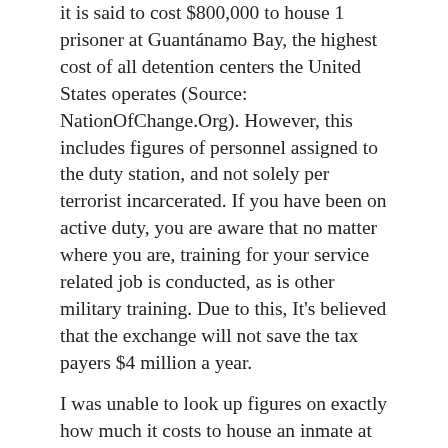it is said to cost $800,000 to house 1 prisoner at Guantánamo Bay, the highest cost of all detention centers the United States operates (Source: NationOfChange.Org). However, this includes figures of personnel assigned to the duty station, and not solely per terrorist incarcerated. If you have been on active duty, you are aware that no matter where you are, training for your service related job is conducted, as is other military training. Due to this, It's believed that the exchange will not save the tax payers $4 million a year.
I was unable to look up figures on exactly how much it costs to house an inmate at Fort Leavenworth, which most likely is where Bergdahl would be initially confined, if convicted, but it is most likely considerably less. However, one must consider the "due process" tribunal costs of a General Court-Martial as it will take years to prove, beyond